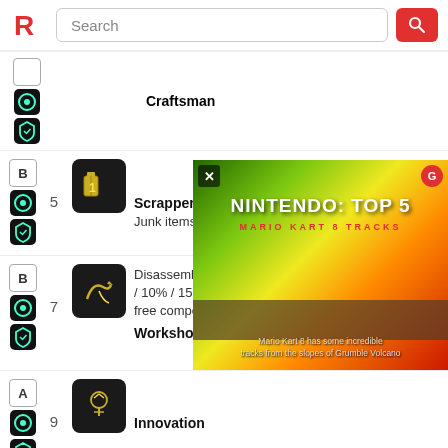Search
Craftsman
Scrapper — 5 — Junk items are automatically disassembled
Workshop — 7 — Disassembling items grant a 5% / 10% / 15% chance to gain a free component
Innovation — 9
[Figure (screenshot): Nintendo: Top 5 Mario Kart 8 Tracks video ad overlay. Text: 'Mario Kart 8 has some incredible tracks from the slopes of Grumble Volcano']
Crafted grenades deal 10% / 20% more